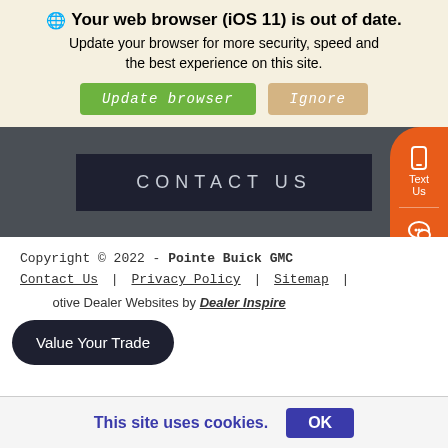🌐 Your web browser (iOS 11) is out of date. Update your browser for more security, speed and the best experience on this site.
Update browser | Ignore
CONTACT US
[Figure (infographic): Orange rounded sidebar with phone/text/chat/call icons: mobile phone icon, 'Text Us', chat bubble icon, phone handset icon]
Copyright © 2022 - Pointe Buick GMC
Contact Us | Privacy Policy | Sitemap
Advanced Automotive Dealer Websites by Dealer Inspire
Value Your Trade
This site uses cookies. OK